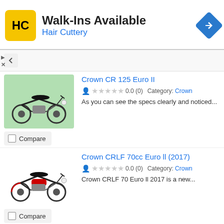[Figure (screenshot): Hair Cuttery advertisement banner with yellow HC logo, Walk-Ins Available text, and blue navigation diamond icon]
Crown CR 125 Euro II
0.0 (0)  Category: Crown
As you can see the specs clearly and noticed...
[Figure (photo): Motorcycle - Crown CR 125 Euro II on green background]
Compare
Crown CRLF 70cc Euro ll (2017)
0.0 (0)  Category: Crown
Crown CRLF 70 Euro ll 2017 is a new...
[Figure (photo): Motorcycle - Crown CRLF 70cc Euro II 2017 red motorcycle]
Compare